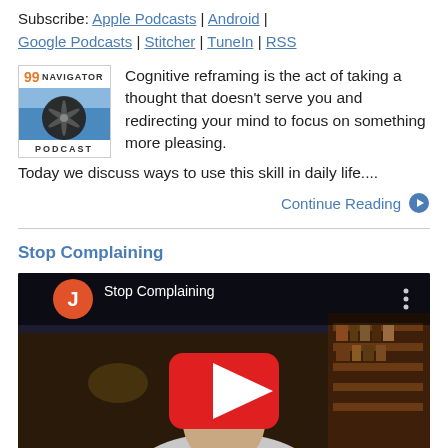Subscribe: Apple Podcasts | Android | Google Podcasts | Stitcher | TuneIn | RSS
[Figure (photo): 99 Navigator Podcast logo with airplane propeller image]
Cognitive reframing is the act of taking a thought that doesn't serve you and redirecting your mind to focus on something more pleasing. Today we discuss ways to use this skill in daily life....
Continue Reading
Stop Complaining
[Figure (screenshot): YouTube video thumbnail for 'Stop Complaining' with play button, showing a person in a white shirt seated at a desk]